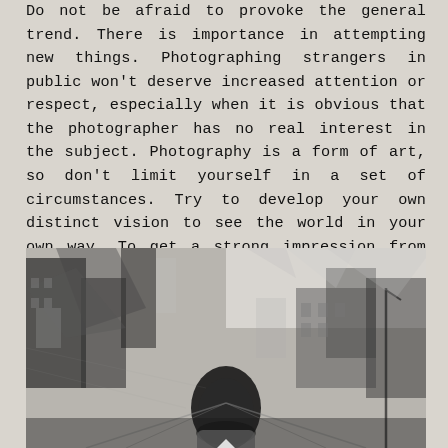Do not be afraid to provoke the general trend. There is importance in attempting new things. Photographing strangers in public won't deserve increased attention or respect, especially when it is obvious that the photographer has no real interest in the subject. Photography is a form of art, so don't limit yourself in a set of circumstances. Try to develop your own distinct vision to see the world in your own way. To get a strong impression from your audience, you should be capable of showing them your personality, life and thought in the picture. A just well-composed picture won't get too much attention from me or others I think.
[Figure (photo): Black and white double-exposure photograph of city streets and buildings with overlapping architectural elements]